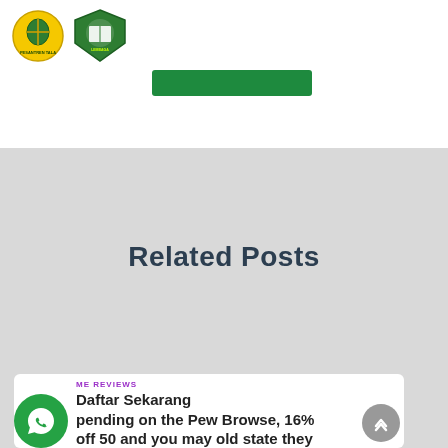[Figure (logo): Two organizational logos - circular yellow/green logo and a green shield with book logo]
[Figure (other): Green button/banner element]
Related Posts
ME REVIEWS
Daftar Sekarang
pending on the Pew Browse, 16% off 50 and you may old state they